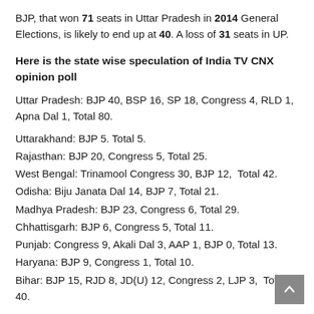BJP, that won 71 seats in Uttar Pradesh in 2014 General Elections, is likely to end up at 40. A loss of 31 seats in UP.
Here is the state wise speculation of India TV CNX opinion poll
Uttar Pradesh: BJP 40, BSP 16, SP 18, Congress 4, RLD 1, Apna Dal 1, Total 80.
Uttarakhand: BJP 5. Total 5.
Rajasthan: BJP 20, Congress 5, Total 25.
West Bengal: Trinamool Congress 30, BJP 12,  Total 42.
Odisha: Biju Janata Dal 14, BJP 7, Total 21.
Madhya Pradesh: BJP 23, Congress 6, Total 29.
Chhattisgarh: BJP 6, Congress 5, Total 11.
Punjab: Congress 9, Akali Dal 3, AAP 1, BJP 0, Total 13.
Haryana: BJP 9, Congress 1, Total 10.
Bihar: BJP 15, RJD 8, JD(U) 12, Congress 2, LJP 3,  Total 40.